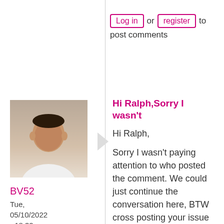Log in or register to post comments
[Figure (photo): Profile photo of user BV52 - a man in a white shirt]
BV52
Tue, 05/10/2022 - 18:32
permalink
Hi Ralph,Sorry I wasn't
Hi Ralph,
Sorry I wasn't paying attention to who posted the comment. We could just continue the conversation here, BTW cross posting your issue will not